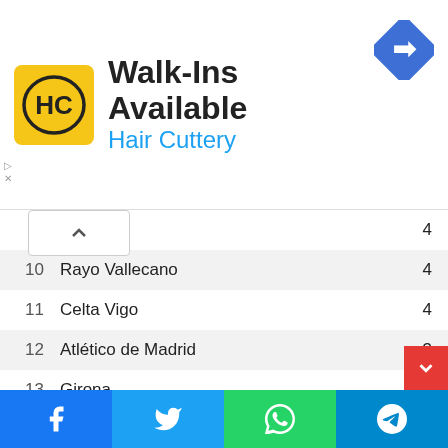[Figure (logo): Hair Cuttery advertisement banner with HC logo, Walk-Ins Available text, and a navigation/directions icon]
| # | Team | Pts |
| --- | --- | --- |
| 9 | Almeria | 4 |
| 10 | Rayo Vallecano | 4 |
| 11 | Celta Vigo | 4 |
| 12 | Atlético de Madrid | 3 |
| 13 | Girona | 3 |
| 14 | Valencia | 3 |
| 15 | Sevilla | 1 |
| 16 | Espanyol | 1 |
| 17 | Elche | 1 |
| 18 | Getafe | 1 |
| 19 | Real Valladolid | 1 |
| 20 | Cadiz | 0 |